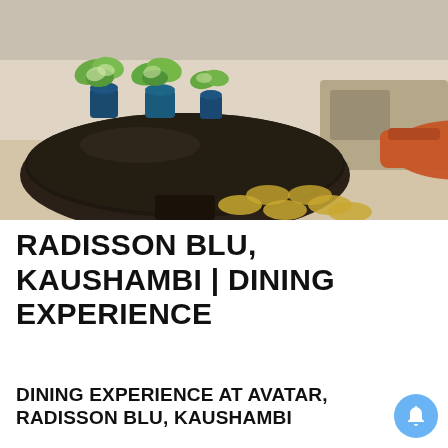[Figure (photo): A woman in a floral top and black pants standing next to a large round dark table with potted plants in a hotel lobby]
RADISSON BLU, KAUSHAMBI | DINING EXPERIENCE
DINING EXPERIENCE AT AVATAR, RADISSON BLU, KAUSHAMBI